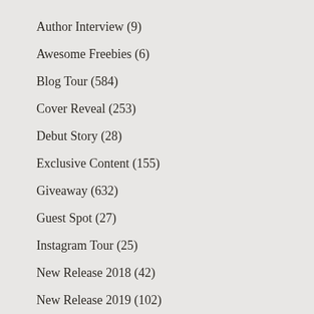Author Interview (9)
Awesome Freebies (6)
Blog Tour (584)
Cover Reveal (253)
Debut Story (28)
Exclusive Content (155)
Giveaway (632)
Guest Spot (27)
Instagram Tour (25)
New Release 2018 (42)
New Release 2019 (102)
New Release 2020 (21)
New Release 2021 (130)